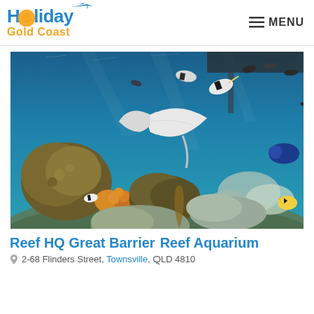Holiday Gold Coast — MENU
[Figure (photo): Underwater photo of a coral reef scene with a manta ray, tropical fish including moorish idols and yellow butterflyfish, and colorful coral formations including orange and brown corals, with blue water in the background.]
Reef HQ Great Barrier Reef Aquarium
2-68 Flinders Street, Townsville, QLD 4810